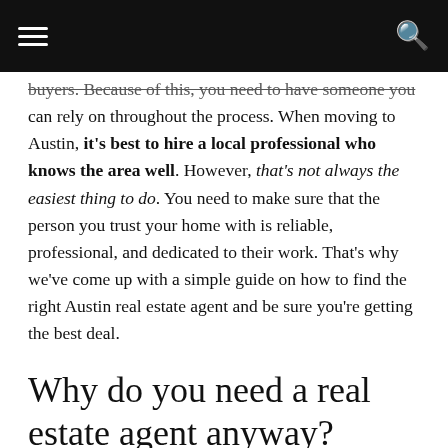≡  [navigation]  🔍
buyers. Because of this, you need to have someone you can rely on throughout the process. When moving to Austin, it's best to hire a local professional who knows the area well. However, that's not always the easiest thing to do. You need to make sure that the person you trust your home with is reliable, professional, and dedicated to their work. That's why we've come up with a simple guide on how to find the right Austin real estate agent and be sure you're getting the best deal.
Why do you need a real estate agent anyway?
There are several reasons why it's a good idea to hire an agent. Firstly, they can help you get the best possible